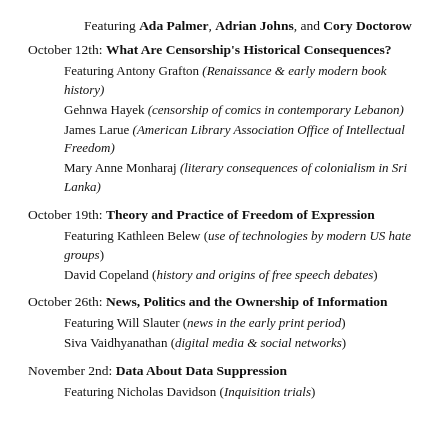Featuring Ada Palmer, Adrian Johns, and Cory Doctorow
October 12th: What Are Censorship's Historical Consequences?
Featuring Antony Grafton (Renaissance & early modern book history)
Gehnwa Hayek (censorship of comics in contemporary Lebanon)
James Larue (American Library Association Office of Intellectual Freedom)
Mary Anne Monharaj (literary consequences of colonialism in Sri Lanka)
October 19th: Theory and Practice of Freedom of Expression
Featuring Kathleen Belew (use of technologies by modern US hate groups)
David Copeland (history and origins of free speech debates)
October 26th: News, Politics and the Ownership of Information
Featuring Will Slauter (news in the early print period)
Siva Vaidhyanathan (digital media & social networks)
November 2nd: Data About Data Suppression
Featuring Nicholas Davidson (Inquisition trials)